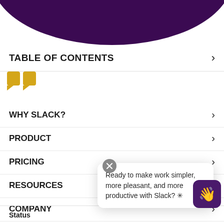[Figure (illustration): Dark purple semi-circle arc at the top of the page, cropped]
TABLE OF CONTENTS
[Figure (illustration): Two golden/yellow quote mark shield icons]
WHY SLACK?
PRODUCT
PRICING
RESOURCES
COMPANY
Ready to make work simpler, more pleasant, and more productive with Slack? ✳
Status